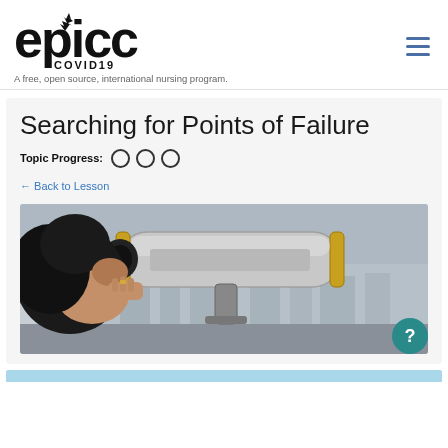[Figure (logo): EPICC COVID19 logo with maple leaf and text]
A free, open source, international nursing program.
Searching for Points of Failure
Topic Progress: ○ ○ ○
← Back to Lesson
[Figure (photo): Person looking through a large coin-operated telescope/binoculars, with city skyline in background]